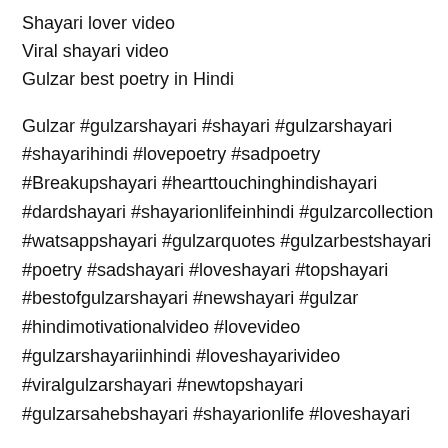Shayari lover video
Viral shayari video
Gulzar best poetry in Hindi
Gulzar #gulzarshayari #shayari #gulzarshayari #shayarihindi #lovepoetry #sadpoetry #Breakupshayari #hearttouchinghindishayari #dardshayari #shayarionlifeinhindi #gulzarcollection #watsappshayari #gulzarquotes #gulzarbestshayari #poetry #sadshayari #loveshayari #topshayari #bestofgulzarshayari #newshayari #gulzar #hindimotivationalvideo #lovevideo #gulzarshayariinhindi #loveshayarivideo #viralgulzarshayari #newtopshayari #gulzarsahebshayari #shayarionlife #loveshayari